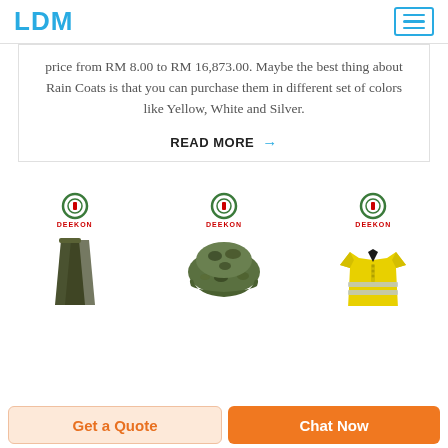LDM
price from RM 8.00 to RM 16,873.00. Maybe the best thing about Rain Coats is that you can purchase them in different set of colors like Yellow, White and Silver.
READ MORE →
[Figure (photo): Three product thumbnails each with a DEEKON logo: first shows an olive/dark green military bag or strap, second shows a camouflage military helmet, third shows a yellow high-visibility safety shirt with reflective strips.]
Get a Quote
Chat Now